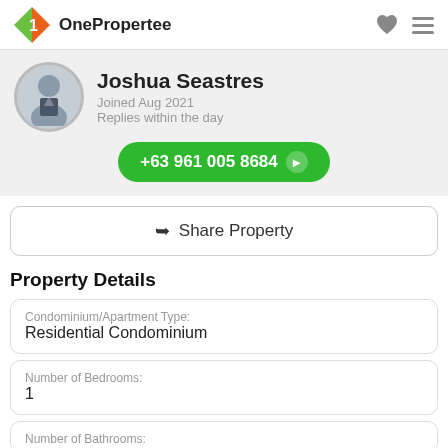OnePropertee
Joshua Seastres
Joined Aug 2021
Replies within the day
+63 961 005 8684
Share Property
Property Details
| Field | Value |
| --- | --- |
| Condominium/Apartment Type: | Residential Condominium |
| Number of Bedrooms: | 1 |
| Number of Bathrooms: |  |